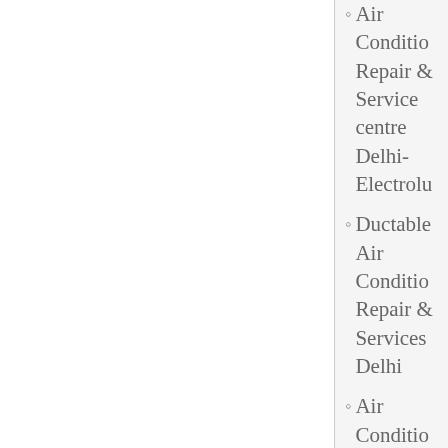Air Conditioning Repair & Service centre Delhi-Electrolux
Ductable Air Conditioning Repair & Services Delhi
Air Conditioning Repair & Service centre Delhi-White Westing